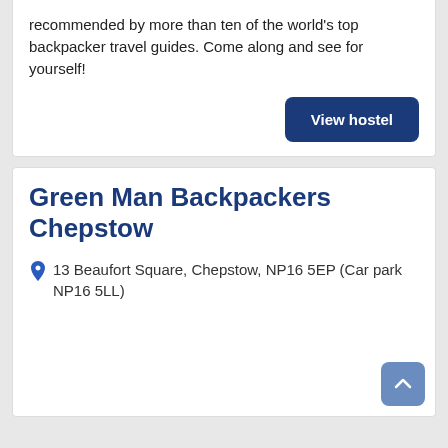recommended by more than ten of the world's top backpacker travel guides. Come along and see for yourself!
View hostel
Green Man Backpackers Chepstow
13 Beaufort Square, Chepstow, NP16 5EP (Car park NP16 5LL)